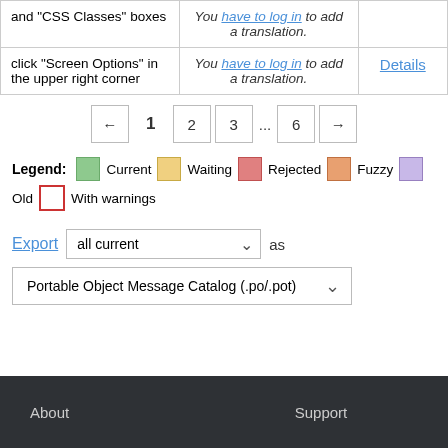|  |  |  |
| --- | --- | --- |
| and "CSS Classes" boxes | You have to log in to add a translation. |  |
| click "Screen Options" in the upper right corner | You have to log in to add a translation. | Details |
← 1 2 3 ... 6 →
Legend: Current Waiting Rejected Fuzzy Old With warnings
Export all current as Portable Object Message Catalog (.po/.pot)